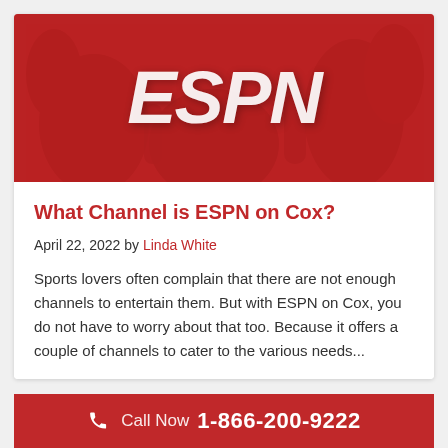[Figure (illustration): Red ESPN banner image with ESPN logo in white italic bold text overlaid on a blurred red-tinted image of athletes]
What Channel is ESPN on Cox?
April 22, 2022 by Linda White
Sports lovers often complain that there are not enough channels to entertain them. But with ESPN on Cox, you do not have to worry about that too. Because it offers a couple of channels to cater to the various needs...
Call Now 1-866-200-9222